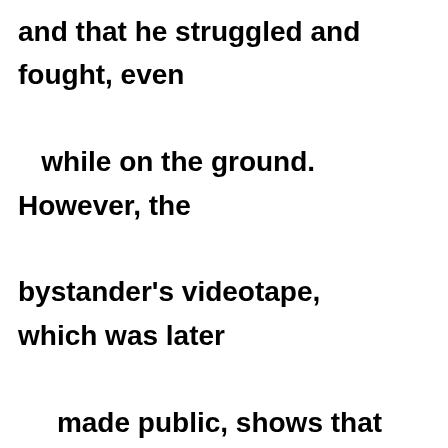and that he struggled and fought, even while on the ground.  However, the bystander's videotape, which was later made public, shows that Mr. Dziekanski screamed and fell to the ground after the first taser. Sgt. Lemaitre also told reporters in October 2007 that police tasered Mr. Dziekasnki